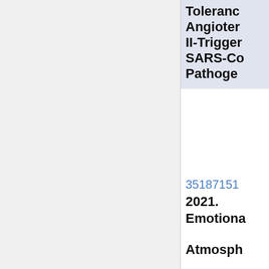Tolerance Angiotensin II-Triggered SARS-CoV Pathoge
35187151
2021. Emotiona Atmosph Role